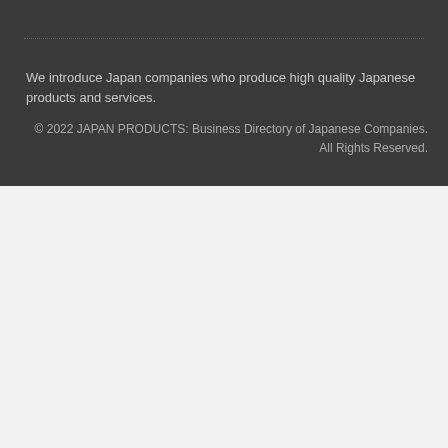We introduce Japan companies who produce high quality Japanese products and services.
© 2022 JAPAN PRODUCTS: Business Directory of Japanese Companies. All Rights Reserved.